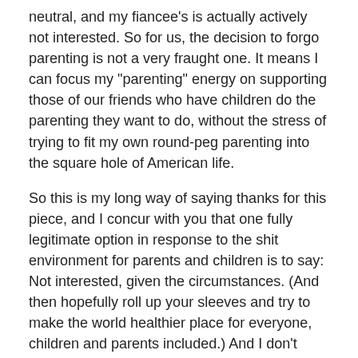neutral, and my fiancee's is actually actively not interested. So for us, the decision to forgo parenting is not a very fraught one. It means I can focus my "parenting" energy on supporting those of our friends who have children do the parenting they want to do, without the stress of trying to fit my own round-peg parenting into the square hole of American life.
So this is my long way of saying thanks for this piece, and I concur with you that one fully legitimate option in response to the shit environment for parents and children is to say: Not interested, given the circumstances. (And then hopefully roll up your sleeves and try to make the world healthier place for everyone, children and parents included.) And I don't think this is a lazy, self-centered, or petulant decision, nor is it borne of denial. Instead, I'd argue it's a practical exercise in making realistic decisions about resources, family well-being, and priorities.
kamander — July 10, 2012